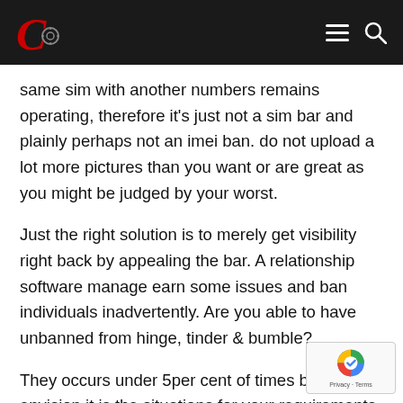C [logo with navigation menu and search icons]
same sim with another numbers remains operating, therefore it's just not a sim bar and plainly perhaps not an imei ban. do not upload a lot more pictures than you want or are great as you might be judged by your worst.
Just the right solution is to merely get visibility right back by appealing the bar. A relationship software manage earn some issues and ban individuals inadvertently. Are you able to have unbanned from hinge, tinder & bumble?
They occurs under 5per cent of times but if your envision it is the situations for your requirements, email the software best with screenshots, details, timestamps, e-mail profile, phone nu and so on observe as long as they concur. Thus I had got blocked for being resistant to the covid vax which i'm positive